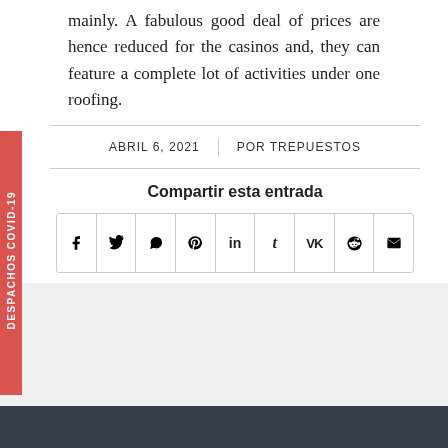mainly. A fabulous good deal of prices are hence reduced for the casinos and, they can feature a complete lot of activities under one roofing.
ABRIL 6, 2021 | POR TREPUESTOS
Compartir esta entrada
[Figure (other): Social share icons row: Facebook, Twitter, WhatsApp, Pinterest, LinkedIn, Tumblr, VK, Reddit, Email]
DESPACHOS COVID-19